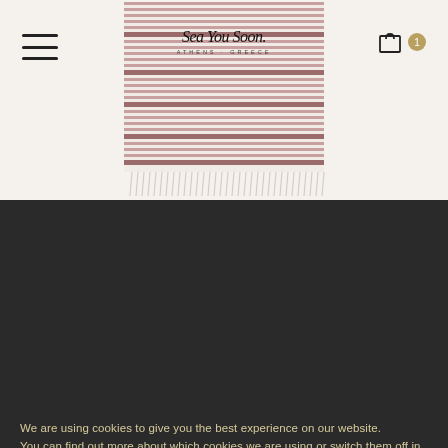[Figure (screenshot): Website screenshot of Sea You Soon Athens Greece brand showing a striped beach towel product with tassel fringe, displayed in the top half of the page. The towel has horizontal pink/mauve and white stripes with a handwritten logo 'Sea You Soon' and text 'ATHENS · GREECE'.]
We are using cookies to give you the best experience on our website.
You can find out more about which cookies we are using or switch them off in settings.
Accept